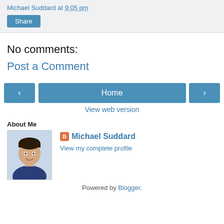Michael Suddard at 9:05 pm
Share
No comments:
Post a Comment
‹
Home
›
View web version
About Me
[Figure (photo): Profile photo of Michael Suddard, a man with dark hair wearing a blue shirt, smiling]
Michael Suddard
View my complete profile
Powered by Blogger.